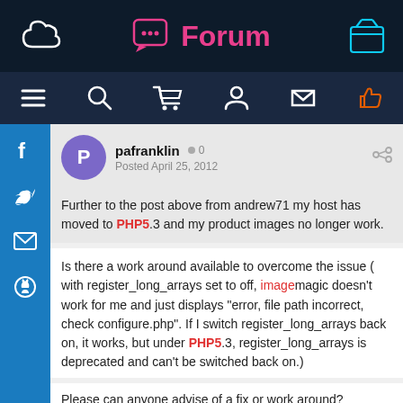Forum
pafranklin  0  Posted April 25, 2012
Further to the post above from andrew71 my host has moved to PHP5.3 and my product images no longer work.
Is there a work around available to overcome the issue ( with register_long_arrays set to off, imagemagic doesn't work for me and just displays "error, file path incorrect, check configure.php". If I switch register_long_arrays back on, it works, but under PHP5.3, register_long_arrays is deprecated and can't be switched back on.)
Please can anyone advise of a fix or work around?